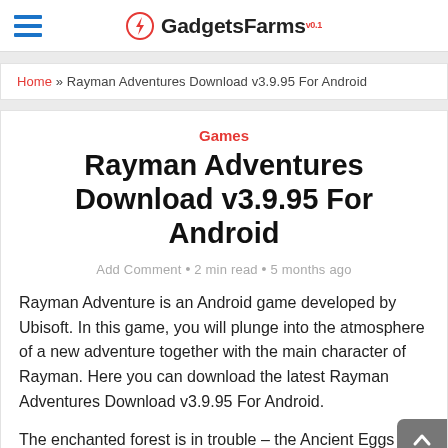GadgetsFarms
Home » Rayman Adventures Download v3.9.95 For Android
Games
Rayman Adventures Download v3.9.95 For Android
Add Comment · 2 min read · 5 months ago
Rayman Adventure is an Android game developed by Ubisoft. In this game, you will plunge into the atmosphere of a new adventure together with the main character of Rayman. Here you can download the latest Rayman Adventures Download v3.9.95 For Android.
The enchanted forest is in trouble – the Ancient Eggs tha